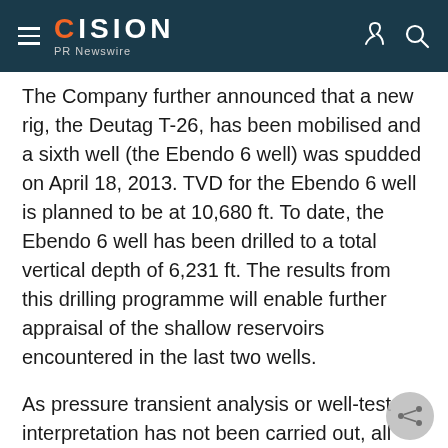CISION PR Newswire
The Company further announced that a new rig, the Deutag T-26, has been mobilised and a sixth well (the Ebendo 6 well) was spudded on April 18, 2013. TVD for the Ebendo 6 well is planned to be at 10,680 ft. To date, the Ebendo 6 well has been drilled to a total vertical depth of 6,231 ft. The results from this drilling programme will enable further appraisal of the shallow reservoirs encountered in the last two wells.
As pressure transient analysis or well-test interpretation has not been carried out, all results disclosed in this press release should be regarded as preliminary and are not necessarily indicative of long-term performance or ultimate recovery. The results